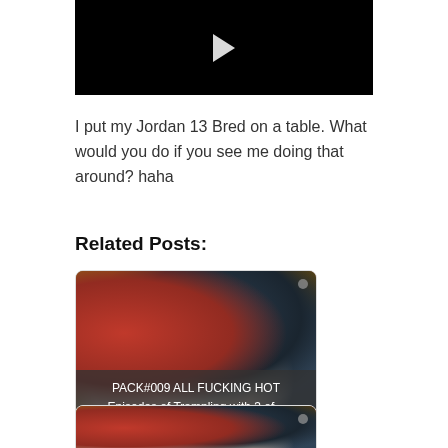[Figure (screenshot): Black video thumbnail with white play button triangle in center]
I put my Jordan 13 Bred on a table. What would you do if you see me doing that around? haha
Related Posts:
[Figure (photo): Thumbnail image of multiple sneakers (red and black Jordan shoes) with overlay text: PACK#009 ALL FUCKING HOT Episodes of Trampling with 3 of...]
[Figure (photo): Second related post thumbnail showing red sneakers, partially visible]